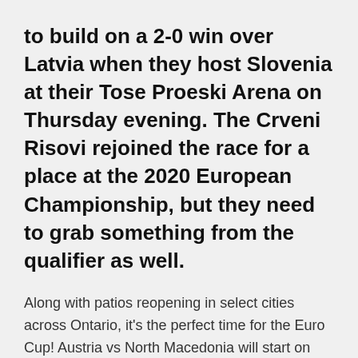to build on a 2-0 win over Latvia when they host Slovenia at their Tose Proeski Arena on Thursday evening. The Crveni Risovi rejoined the race for a place at the 2020 European Championship, but they need to grab something from the qualifier as well.
Along with patios reopening in select cities across Ontario, it's the perfect time for the Euro Cup! Austria vs North Macedonia will start on June 19 at Arena Națională in Bucharest, meaning neither side will enjoy much of home advantage. Euro 2020 fixtures began on June 11, starting a month-long festival of football across the continent Match 23: Portugal vs Germany.